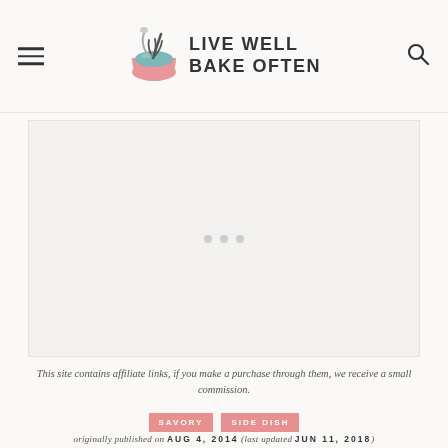LIVE WELL BAKE OFTEN
[Figure (other): Advertisement placeholder with three gray dots centered in a light gray rectangle]
This site contains affiliate links, if you make a purchase through them, we receive a small commission.
SAVORY   SIDE DISH
originally published on AUG 4, 2014 (last updated JUN 11, 2018)